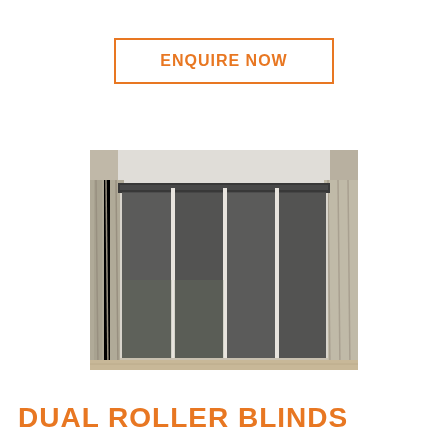ENQUIRE NOW
[Figure (photo): Interior room with large sliding glass doors covered by dark grey dual roller blinds, with sheer curtains on either side]
DUAL ROLLER BLINDS